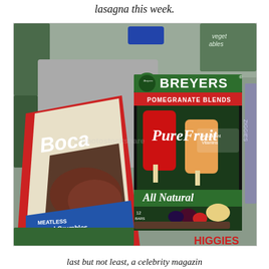lasagna this week.
[Figure (photo): A grocery haul showing a bag of Boca Meatless Ground Crumbles and a box of Breyers Pomegranate Blends Pure Fruit All Natural bars, surrounded by various grocery bags and items.]
last but not least, a celebrity magazin